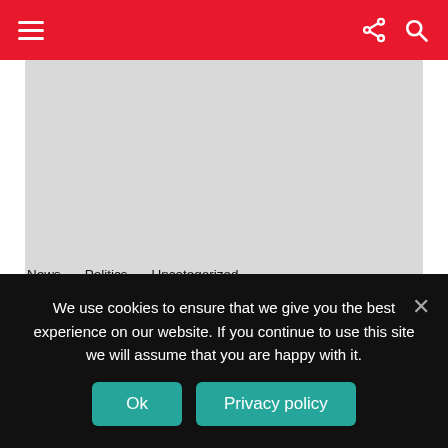Navigation header with hamburger menu, share icon, and search icon
[Figure (photo): Gray image placeholder area at top of article]
News · Politics · Uncategorized
Scott Tucker Payday Loans could be the Overseer from Choral New music
[Figure (illustration): Pink circular author avatar with white star icon]
[Figure (photo): Gray image placeholder area below author avatar]
We use cookies to ensure that we give you the best experience on our website. If you continue to use this site we will assume that you are happy with it.
Ok   Privacy policy